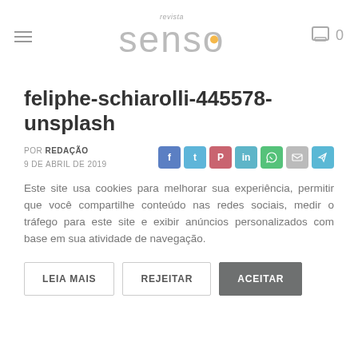revista senso
feliphe-schiarolli-445578-unsplash
POR REDAÇÃO
9 DE ABRIL DE 2019
Este site usa cookies para melhorar sua experiência, permitir que você compartilhe conteúdo nas redes sociais, medir o tráfego para este site e exibir anúncios personalizados com base em sua atividade de navegação.
LEIA MAIS   REJEITAR   ACEITAR